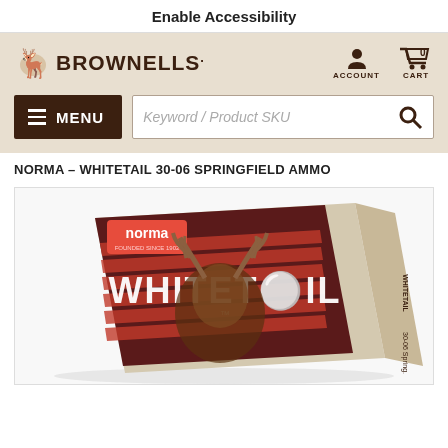Enable Accessibility
[Figure (logo): Brownells logo with deer icon and 'BROWNELLS.' text, plus Account and Cart icons]
[Figure (screenshot): Menu button (hamburger) and search bar with placeholder 'Keyword / Product SKU' and search icon]
NORMA - WHITETAIL 30-06 SPRINGFIELD AMMO
[Figure (photo): Norma Whitetail 30-06 Springfield ammunition box with deer and American flag imagery, viewed at an angle showing front and side of box]